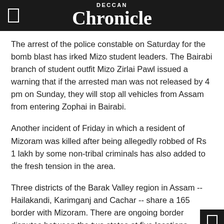DECCAN Chronicle
The arrest of the police constable on Saturday for the bomb blast has irked Mizo student leaders. The Bairabi branch of student outfit Mizo Zirlai Pawl issued a warning that if the arrested man was not released by 4 pm on Sunday, they will stop all vehicles from Assam from entering Zophai in Bairabi.
Another incident of Friday in which a resident of Mizoram was killed after being allegedly robbed of Rs 1 lakh by some non-tribal criminals has also added to the fresh tension in the area.
Three districts of the Barak Valley region in Assam -- Hailakandi, Karimganj and Cachar -- share a 165 border with Mizoram. There are ongoing border disputes between the two states at five locations.